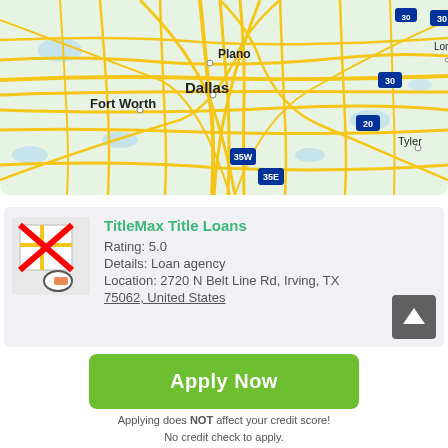[Figure (map): Google Maps view of Dallas-Fort Worth area in Texas, showing cities including Fort Worth, Dallas, Plano, Tyler, and Longview, with major highways including 30, 20, 35W, and 35E.]
[Figure (infographic): Business listing card for TitleMax Title Loans with map icon (crossed out with red X), showing rating 5.0, Details: Loan agency, Location: 2720 N Belt Line Rd, Irving, TX 75062, United States, and an up-arrow scroll button.]
TitleMax Title Loans
Rating: 5.0
Details: Loan agency
Location: 2720 N Belt Line Rd, Irving, TX 75062, United States
Apply Now
Applying does NOT affect your credit score! No credit check to apply.